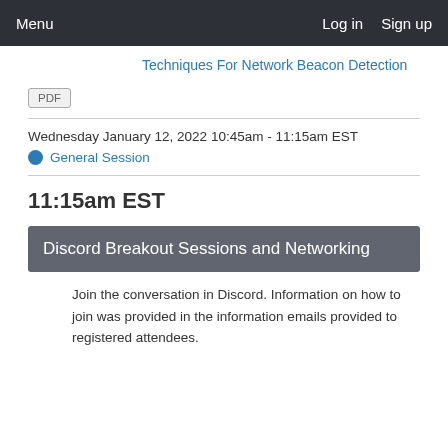Menu  Log in  Sign up
Techniques For Network Beacon Detection
PDF
Wednesday January 12, 2022 10:45am - 11:15am EST
General Session
11:15am EST
Discord Breakout Sessions and Networking
Join the conversation in Discord. Information on how to join was provided in the information emails provided to registered attendees.